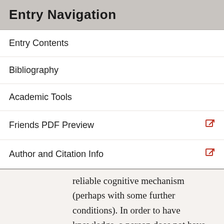Entry Navigation
Entry Contents
Bibliography
Academic Tools
Friends PDF Preview
Author and Citation Info
reliable cognitive mechanism (perhaps with some further conditions). In order to have knowledge, a person does not have to be aware of and judge evidence, nor be cognizant of the reliability of the mechanism that produces the knowledge. Hence, “awakening” from (what is in fact) a PCE, if it produces the belief that one has “awakened” from a PCE, could be a reliable cognitive mechanism sufficient for knowing one had had a PCE. If we stick to an evidentialist conception of knowledge, mystics might be able to have evidence they had endured a PCE, though not at the precise time of its